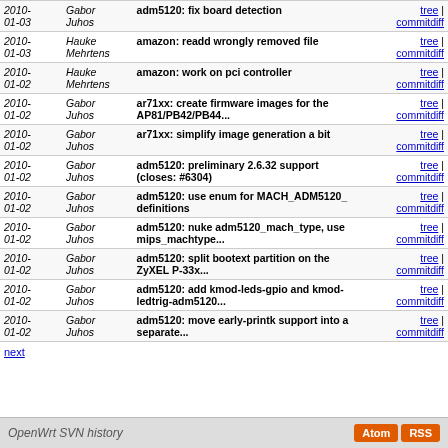| Date | Author | Message | Links |
| --- | --- | --- | --- |
| 2010-01-03 | Gabor Juhos | adm5120: fix board detection | tree | commitdiff |
| 2010-01-03 | Hauke Mehrtens | amazon: readd wrongly removed file | tree | commitdiff |
| 2010-01-02 | Hauke Mehrtens | amazon: work on pci controller | tree | commitdiff |
| 2010-01-02 | Gabor Juhos | ar71xx: create firmware images for the AP81/PB42/PB44... | tree | commitdiff |
| 2010-01-02 | Gabor Juhos | ar71xx: simplify image generation a bit | tree | commitdiff |
| 2010-01-02 | Gabor Juhos | adm5120: preliminary 2.6.32 support (closes: #6304) | tree | commitdiff |
| 2010-01-02 | Gabor Juhos | adm5120: use enum for MACH_ADM5120_ definitions | tree | commitdiff |
| 2010-01-02 | Gabor Juhos | adm5120: nuke adm5120_mach_type, use mips_machtype... | tree | commitdiff |
| 2010-01-02 | Gabor Juhos | adm5120: split bootext partition on the ZyXEL P-33x... | tree | commitdiff |
| 2010-01-02 | Gabor Juhos | adm5120: add kmod-leds-gpio and kmod-ledtrig-adm5120... | tree | commitdiff |
| 2010-01-02 | Gabor Juhos | adm5120: move early-printk support into a separate... | tree | commitdiff |
next
OpenWrt SVN history